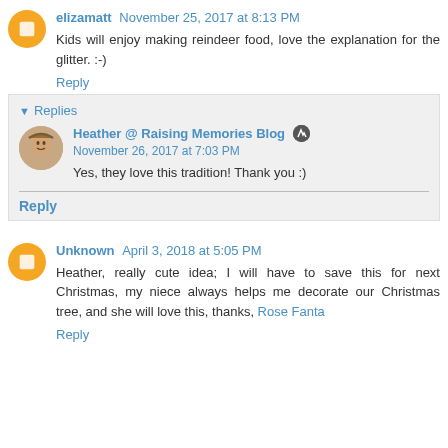elizamatt November 25, 2017 at 8:13 PM
Kids will enjoy making reindeer food, love the explanation for the glitter. :-)
Reply
Replies
Heather @ Raising Memories Blog November 26, 2017 at 7:03 PM
Yes, they love this tradition! Thank you :)
Reply
Unknown April 3, 2018 at 5:05 PM
Heather, really cute idea; I will have to save this for next Christmas, my niece always helps me decorate our Christmas tree, and she will love this, thanks, Rose Fanta
Reply